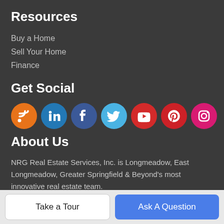Resources
Buy a Home
Sell Your Home
Finance
Get Social
[Figure (infographic): Row of 7 social media icons: RSS (orange), LinkedIn (blue), Facebook (dark blue), Twitter (light blue), YouTube (red), Pinterest (red), Instagram (pink/magenta)]
About Us
NRG Real Estate Services, Inc. is Longmeadow, East Longmeadow, Greater Springfield & Beyond's most innovative real estate team.
NRG Real Estate Services, Inc.
813 Williams Street, Suite 211, Longmeadow, MA 01106
Take a Tour | Ask A Question